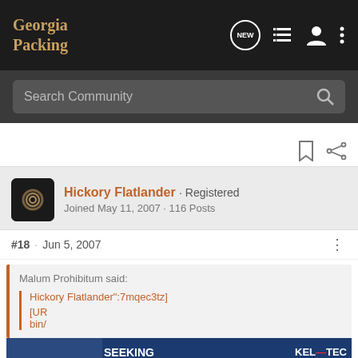Georgia Packing
Search Community
Hickory Flatlander · Registered
Joined May 11, 2007 · 116 Posts
#18 · Jun 5, 2007
Malum Prohibitum said:
Hickory Flatlander":7mqec3tz]
[URL...bin/...cart...
[Figure (screenshot): Kel-Tec advertisement banner: pistol image on left, text 'SEEKING LONG RANGE RELATIONSHIP', Kel-Tec logo, 'THE CP33 PISTOL', 'Buy Now' red button]